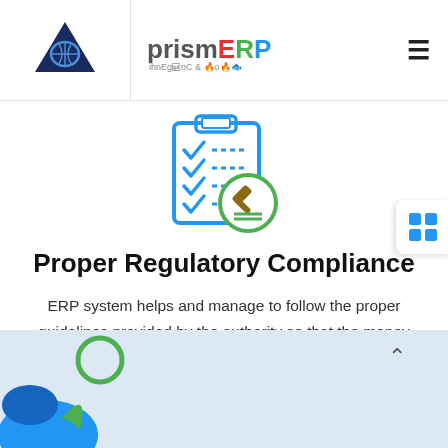prismERP
[Figure (illustration): Checklist/compliance icon with blue clipboard showing checkmarks and a green gavel/legal seal circle]
Proper Regulatory Compliance
ERP system helps and manage to follow the proper guidelines provided by the authority so that the money currency transaction is done under a particular process and all the dealings are done in safe method.
[Figure (illustration): Light blue background section with a partially visible character/mascot illustration at the bottom left]